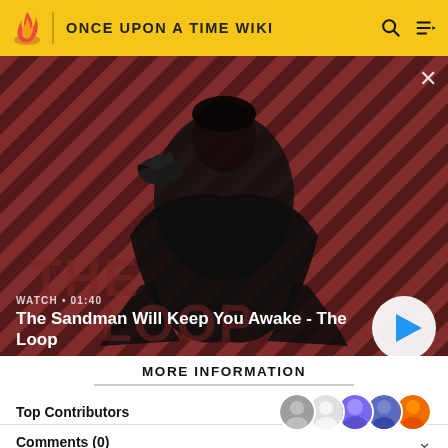ONCE UPON A TIME WIKI
[Figure (screenshot): Video thumbnail showing a dark figure in a black cloak with a raven on shoulder, against a red and dark diagonal striped background. Text overlay reads 'WATCH • 01:40' and 'The Sandman Will Keep You Awake - The Loop' with a play button.]
MORE INFORMATION
Top Contributors
Comments (0)